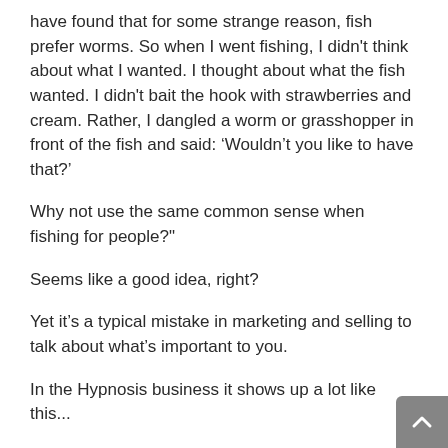have found that for some strange reason, fish prefer worms. So when I went fishing, I didn't think about what I wanted. I thought about what the fish wanted. I didn't bait the hook with strawberries and cream. Rather, I dangled a worm or grasshopper in front of the fish and said: ‘Wouldn’t you like to have that?’
Why not use the same common sense when fishing for people?"
Seems like a good idea, right?
Yet it’s a typical mistake in marketing and selling to talk about what’s important to you.
In the Hypnosis business it shows up a lot like this...
Hypnosis Works!
Because hypnosis is important to a hypnotist, they try to sell the idea that it is effective.